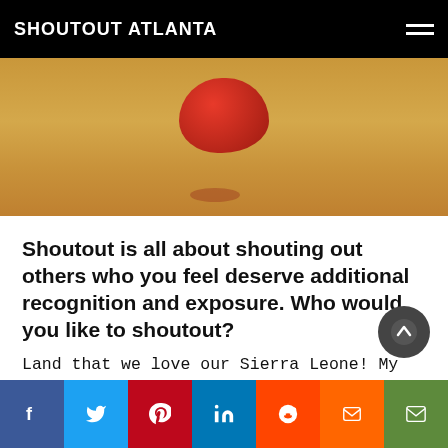SHOUTOUT ATLANTA
[Figure (photo): Partial view of a red round object (balloon or sculpture) resting on sandy/wooden surface, photographed close-up.]
Shoutout is all about shouting out others who you feel deserve additional recognition and exposure. Who would you like to shoutout?
Land that we love our Sierra Leone! My parents were born in Freetown and they immigrated to the States in the 80s. I grew up in a beautifully large family in College Park, GA, that was loud, loving, and resilient. My first memories of white people were when I started getting bussed across town to Sandy Springs from College Park for elementary school. I remember learning to
f  Twitter  Pinterest  in  Reddit  Mix  Email